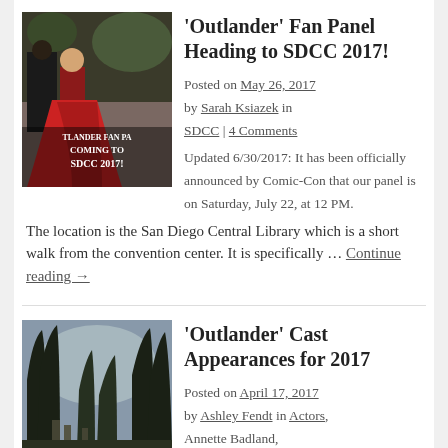[Figure (photo): Two Outlander cast members, a man in dark period costume and a woman in a large red dress, with text overlay reading 'TLANDER FAN PA COMING TO SDCC 2017!']
'Outlander' Fan Panel Heading to SDCC 2017!
Posted on May 26, 2017 by Sarah Ksiazek in SDCC | 4 Comments
Updated 6/30/2017: It has been officially announced by Comic-Con that our panel is on Saturday, July 22, at 12 PM.  The location is the San Diego Central Library which is a short walk from the convention center.  It is specifically … Continue reading →
[Figure (photo): Dark silhouette of trees and standing stones against a moody sky]
'Outlander' Cast Appearances for 2017
Posted on April 17, 2017 by Ashley Fendt in Actors, Annette Badland,